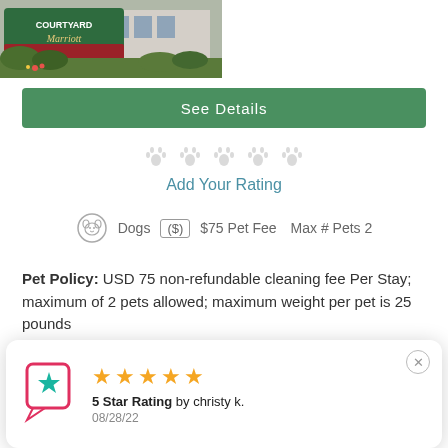[Figure (photo): Courtyard Marriott hotel sign with landscaping and building in background]
See Details
[Figure (infographic): Five paw rating icons (empty/unfilled) for rating input]
Add Your Rating
Dogs   ($) $75 Pet Fee   Max # Pets 2
Pet Policy: USD 75 non-refundable cleaning fee Per Stay; maximum of 2 pets allowed; maximum weight per pet is 25 pounds
5 Star Rating by christy k.
08/28/22